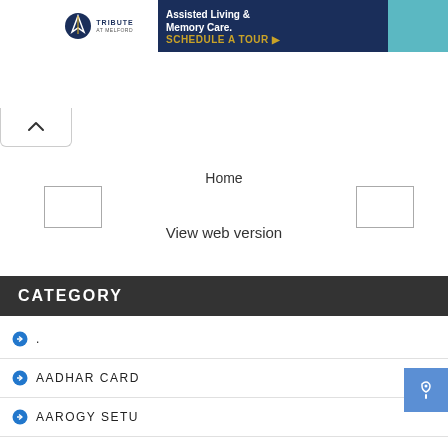[Figure (screenshot): Tribute at Melford advertisement banner: Assisted Living & Memory Care. SCHEDULE A TOUR]
[Figure (screenshot): Up arrow navigation tab]
Home
View web version
CATEGORY
.
AADHAR CARD
AAROGY SETU
ADHARCARD
AGE CALCULATOR